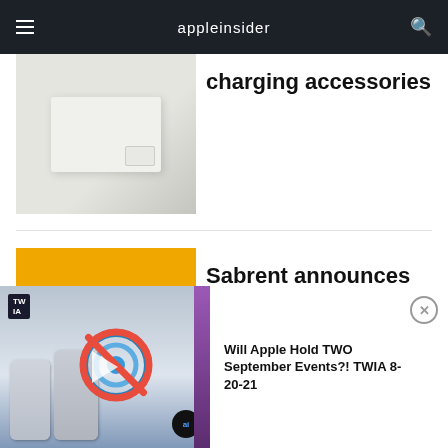appleinsider
[Figure (photo): Partially visible product image of white Apple charging accessories on light gray background]
charging accessories
[Figure (photo): Black Sabrent Thunderbolt CFexpress card reader device on yellow/orange background]
Sabrent announces new Thunderbolt CFexpress card reader
LATEST VIDEOS
[Figure (screenshot): Partially visible video thumbnail]
Marshall Eafort...
[Figure (screenshot): Video overlay showing iPhones, TWIA label, no-AirDrop sign, AI badge, with title: Will Apple Hold TWO September Events?! TWIA 8-20-21]